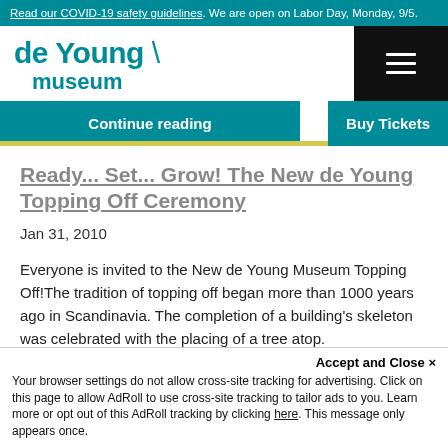Read our COVID-19 safety guidelines. We are open on Labor Day, Monday, 9/5.
[Figure (logo): de Young museum logo with teal text and backslash mark, plus black hamburger menu button]
Continue reading
Buy Tickets
Ready... Set... Grow! The New de Young Topping Off Ceremony
Jan 31, 2010
Everyone is invited to the New de Young Museum Topping Off!The tradition of topping off began more than 1000 years ago in Scandinavia. The completion of a building's skeleton was celebrated with the placing of a tree atop.
Accept and Close ✕
Your browser settings do not allow cross-site tracking for advertising. Click on this page to allow AdRoll to use cross-site tracking to tailor ads to you. Learn more or opt out of this AdRoll tracking by clicking here. This message only appears once.